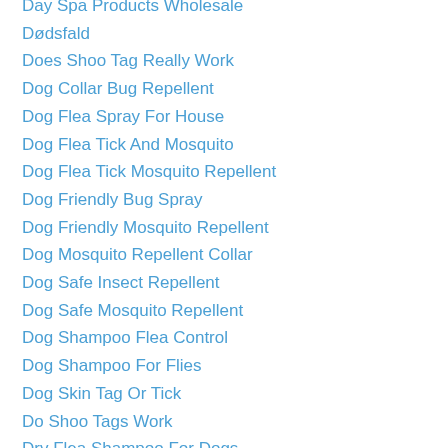Day Spa Products Wholesale
Dødsfald
Does Shoo Tag Really Work
Dog Collar Bug Repellent
Dog Flea Spray For House
Dog Flea Tick And Mosquito
Dog Flea Tick Mosquito Repellent
Dog Friendly Bug Spray
Dog Friendly Mosquito Repellent
Dog Mosquito Repellent Collar
Dog Safe Insect Repellent
Dog Safe Mosquito Repellent
Dog Shampoo Flea Control
Dog Shampoo For Flies
Dog Skin Tag Or Tick
Do Shoo Tags Work
Dry Flea Shampoo For Dogs
Dry Shampoo For Dogs
Easy Defense Flea And Tick Collar
Easy Defense Flea And Tick Tag